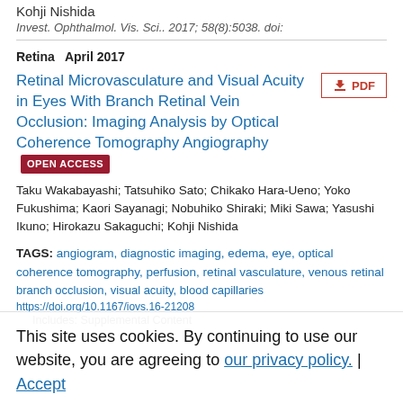Kohji Nishida
Invest. Ophthalmol. Vis. Sci.. 2017; 58(8):5038. doi:
Retina   April 2017
Retinal Microvasculature and Visual Acuity in Eyes With Branch Retinal Vein Occlusion: Imaging Analysis by Optical Coherence Tomography Angiography
Taku Wakabayashi; Tatsuhiko Sato; Chikako Hara-Ueno; Yoko Fukushima; Kaori Sayanagi; Nobuhiko Shiraki; Miki Sawa; Yasushi Ikuno; Hirokazu Sakaguchi; Kohji Nishida
TAGS: angiogram, diagnostic imaging, edema, eye, optical coherence tomography, perfusion, retinal vasculature, venous retinal branch occlusion, visual acuity, blood capillaries
This site uses cookies. By continuing to use our website, you are agreeing to our privacy policy.
Accept
https://doi.org/10.1167/iovs.16-21208
Includes: Supplemental Content